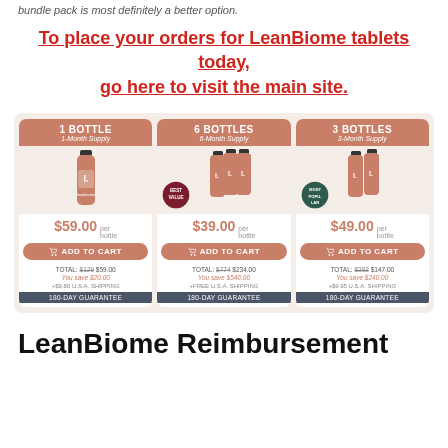bundle pack is most definitely a better option.
To place your orders for LeanBiome tablets today, go here to visit the main site.
[Figure (infographic): Product pricing cards for LeanBiome showing 1 Bottle ($59.00), 6 Bottles ($39.00 each), and 3 Bottles ($49.00 each) with Add to Cart buttons, savings, shipping info, and 180-day guarantee banners.]
LeanBiome Reimbursement